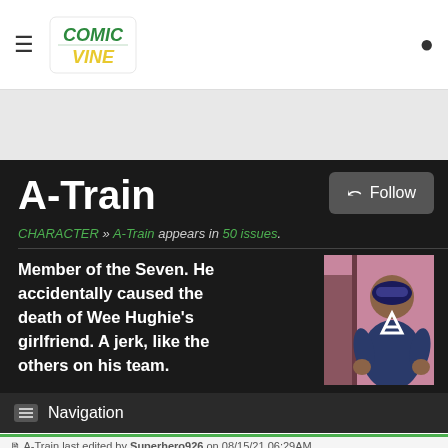Comic Vine (logo) | hamburger menu | user icon
A-Train
CHARACTER » A-Train appears in 50 issues.
Member of the Seven. He accidentally caused the death of Wee Hughie's girlfriend. A jerk, like the others on his team.
[Figure (illustration): A-Train character illustration showing a superhero in blue costume with letter A on chest]
Navigation
A-Train last edited by Superhero926 on 08/15/21 06:29AM
View full history
Origin